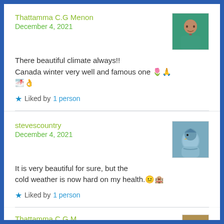Thattamma C.G Menon
December 4, 2021
[Figure (photo): Avatar photo of Thattamma C.G Menon, a person wearing a teal top with a necklace]
There beautiful climate always!! Canada winter very well and famous one 🌷🙏 🌁👌
★ Liked by 1 person
stevescountry
December 4, 2021
[Figure (photo): Avatar photo of stevescountry, a blue jay bird]
It is very beautiful for sure, but the cold weather is now hard on my health.😐🏨
★ Liked by 1 person
Thattamma C.G M...